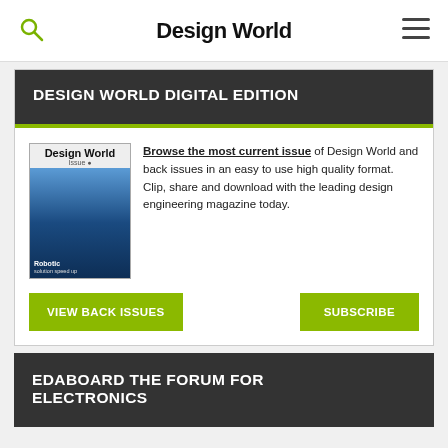Design World
DESIGN WORLD DIGITAL EDITION
[Figure (illustration): Design World magazine cover featuring robotics issue]
Browse the most current issue of Design World and back issues in an easy to use high quality format. Clip, share and download with the leading design engineering magazine today.
VIEW BACK ISSUES
SUBSCRIBE
EDABOARD THE FORUM FOR ELECTRONICS